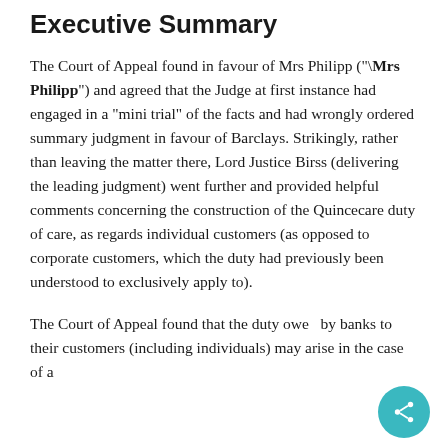Executive Summary
The Court of Appeal found in favour of Mrs Philipp (“Mrs Philipp”) and agreed that the Judge at first instance had engaged in a “mini trial” of the facts and had wrongly ordered summary judgment in favour of Barclays. Strikingly, rather than leaving the matter there, Lord Justice Birss (delivering the leading judgment) went further and provided helpful comments concerning the construction of the Quincecare duty of care, as regards individual customers (as opposed to corporate customers, which the duty had previously been understood to exclusively apply to).
The Court of Appeal found that the duty owed by banks to their customers (including individuals) may arise in the case of a